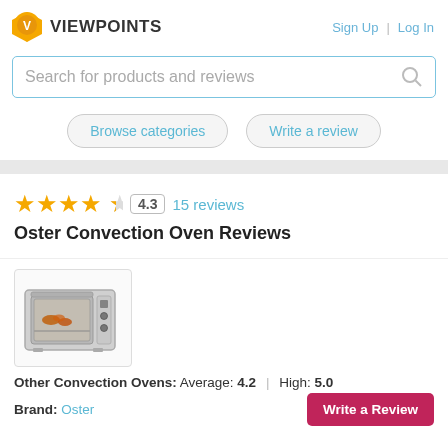[Figure (logo): Viewpoints logo: yellow speech-bubble pin icon and VIEWPOINTS text]
Sign Up  |  Log In
Search for products and reviews
Browse categories   Write a review
4.3  15 reviews
Oster Convection Oven Reviews
[Figure (photo): Photo of an Oster convection oven, silver/stainless steel, with food inside]
Other Convection Ovens:  Average: 4.2  |  High: 5.0
Brand: Oster
Write a Review